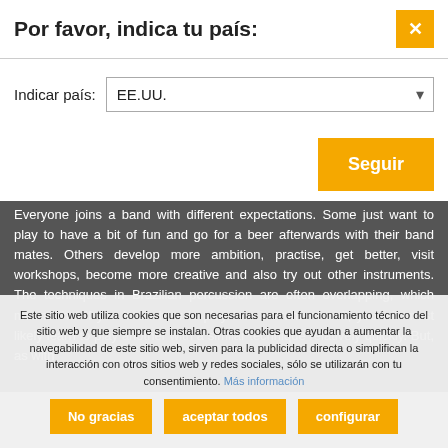Por favor, indica tu país:
Indicar país: EE.UU.
Seguir
Driving your neighbours nuts? Try a silent instrument
Everyone joins a band with different expectations. Some just want to play to have a bit of fun and go for a beer afterwards with their band mates. Others develop more ambition, practise, get better, visit workshops, become more creative and also try out other instruments. The techniques in Brazilian percussion are often overlapping, which means that if you know how to play one instrument well, you will most likely learn to play another with a similar technique relatively quickly. But, as with
Este sitio web utiliza cookies que son necesarias para el funcionamiento técnico del sitio web y que siempre se instalan. Otras cookies que ayudan a aumentar la navegabilidad de este sitio web, sirven para la publicidad directa o simplifican la interacción con otros sitios web y redes sociales, sólo se utilizarán con tu consentimiento. Más información
No gracias
aceptar todos
configurar